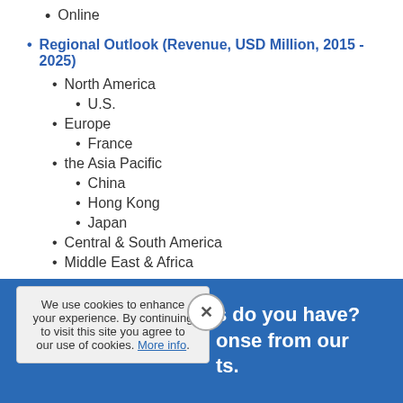Online
Regional Outlook (Revenue, USD Million, 2015 - 2025)
North America
U.S.
Europe
France
the Asia Pacific
China
Hong Kong
Japan
Central & South America
Middle East & Africa
We use cookies to enhance your experience. By continuing to visit this site you agree to our use of cookies. More info.
s do you have? onse from our ts.